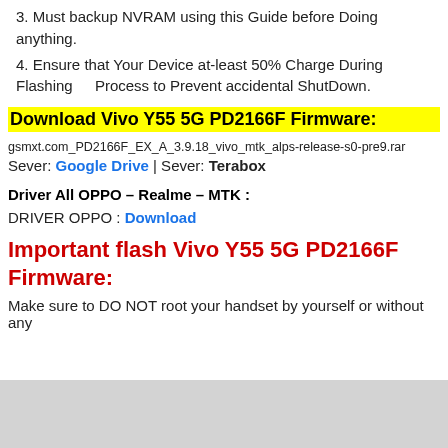3. Must backup NVRAM using this Guide before Doing anything.
4. Ensure that Your Device at-least 50% Charge During Flashing Process to Prevent accidental ShutDown.
Download Vivo Y55 5G PD2166F Firmware:
gsmxt.com_PD2166F_EX_A_3.9.18_vivo_mtk_alps-release-s0-pre9.rar
Sever: Google Drive | Sever: Terabox
Driver All OPPO – Realme – MTK :
DRIVER OPPO : Download
Important flash Vivo Y55 5G PD2166F Firmware:
Make sure to DO NOT root your handset by yourself or without any